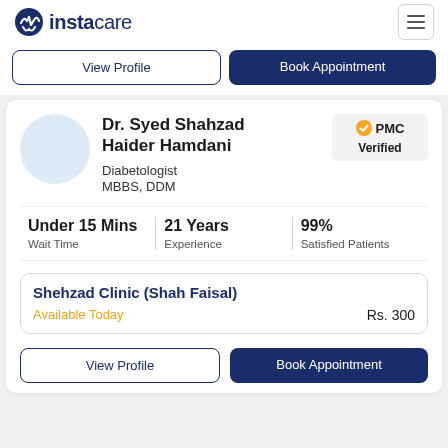instacare
View Profile | Book Appointment
Dr. Syed Shahzad Haider Hamdani
Diabetologist
MBBS, DDM
PMC Verified
Under 15 Mins Wait Time | 21 Years Experience | 99% Satisfied Patients
Shehzad Clinic (Shah Faisal)
Available Today
Rs. 300
View Profile | Book Appointment